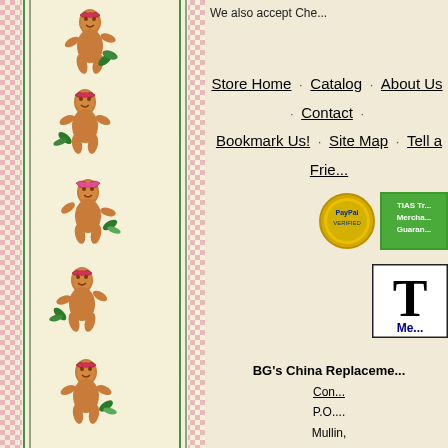[Figure (illustration): Decorative left border with gingerbread men figures on cream and pink checkered background with green stripes]
We also accept Che...
Store Home · Catalog · About Us · Contact · Bookmark Us! · Site Map · Tell a Frie...
[Figure (logo): PayPal Verified badge - round gold seal]
[Figure (logo): TIAS Trusted Merchant Guarantee badge - green rectangle]
[Figure (logo): TIAS logo box with large T and 'Me...' text in blue]
BG's China Replaceme...
Con...
P.O....
Mullin,
Unite...
Updated Sunda...
Product descriptions copyright© 2022 BG'...
All else copyright© 1995-202...